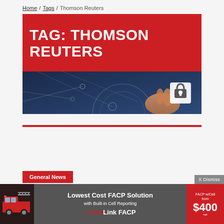Home / Tags / Thomson Reuters
TAG: THOMSON REUTERS
[Figure (photo): Technology/security themed image: hand touching a digital interface with a lock icon, blue-toned background with circuit line patterns]
General News
[Figure (infographic): Advertisement banner: Lowest Cost FACP Solution with Built-in Cell Reporting — FireLink FACP — FACP w/Cell from $400]